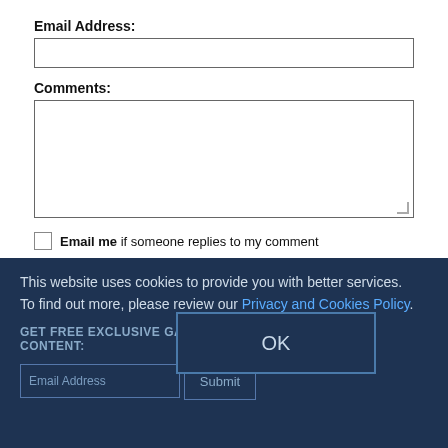Email Address:
Comments:
Email me if someone replies to my comment
Submit Comment
Note: Gatestone appreciates your comments. The editors reserve the right not to publish comments containing: incitement to violence, profanity, or broad-brush slurring of any race, ethnic group or religion. Gatestone also reserves the right to edit comments for length, clarity and grammar, or to conform to these guidelines. Commenters' email addresses will not be displayed publicly. Please limit comments to 300
This website uses cookies to provide you with better services. To find out more, please review our Privacy and Cookies Policy.
OK
GET FREE EXCLUSIVE GATESTONE CONTENT:
Email Address
Submit